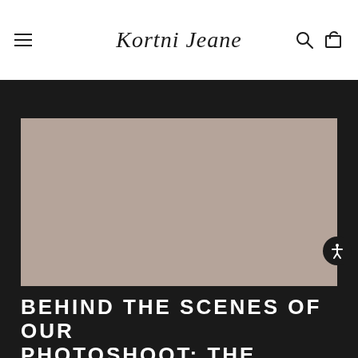Kortni Jeane — navigation header with hamburger menu, logo, search and cart icons
[Figure (photo): Large rectangular image placeholder with muted rose/taupe color, representing a behind-the-scenes photoshoot image]
BEHIND THE SCENES OF OUR PHOTOSHOOT: THE FRUITY